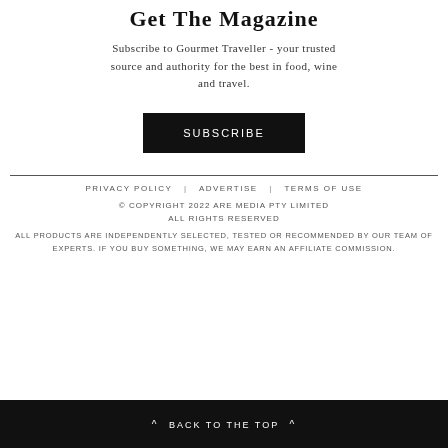Get The Magazine
Subscribe to Gourmet Traveller - your trusted source and authority for the best in food, wine and travel.
SUBSCRIBE
PRIVACY POLICY | ADVERTISE | TERMS OF USE
© COPYRIGHT 2022 ARE MEDIA PTY LIMITED ALL RIGHTS RESERVED
ALL PRODUCTS ARE INDEPENDENTLY SELECTED, TESTED OR RECOMMENDED BY OUR TEAM OF EXPERTS. IF YOU BUY SOMETHING, WE MAY EARN AN AFFILIATE COMMISSION.
^ BACK TO THE TOP ^